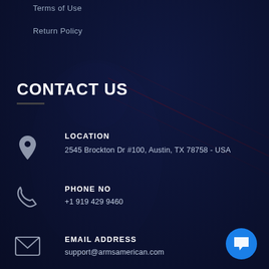Terms of Use
Return Policy
CONTACT US
LOCATION
2545 Brockton Dr #100, Austin, TX 78758 - USA
PHONE NO
+1 919 429 9460
EMAIL ADDRESS
support@armsamerican.com